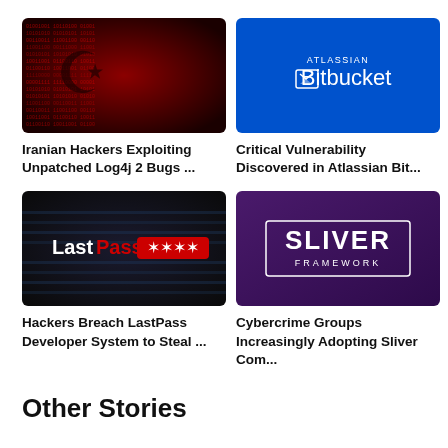[Figure (photo): Dark red background with Iranian symbol and binary code, representing Iranian hackers news article thumbnail]
Iranian Hackers Exploiting Unpatched Log4j 2 Bugs ...
[Figure (logo): Atlassian Bitbucket logo on blue background]
Critical Vulnerability Discovered in Atlassian Bit...
[Figure (photo): LastPass logo with asterisks on dark background]
Hackers Breach LastPass Developer System to Steal ...
[Figure (logo): Sliver Framework logo on purple background]
Cybercrime Groups Increasingly Adopting Sliver Com...
Other Stories